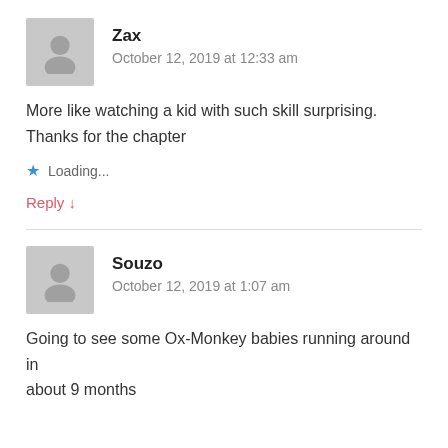Zax
October 12, 2019 at 12:33 am
More like watching a kid with such skill surprising. Thanks for the chapter
Loading...
Reply ↓
Souzo
October 12, 2019 at 1:07 am
Going to see some Ox-Monkey babies running around in about 9 months